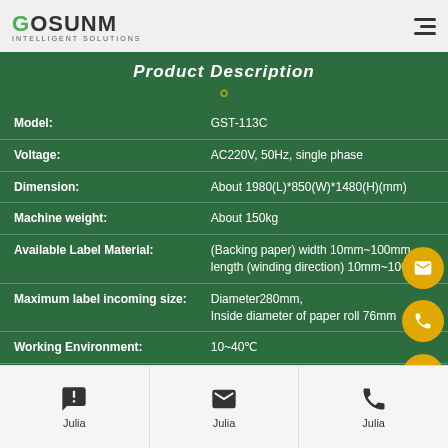GOSUNM INTELLIGENT SOLUTIONS
Product Description
| Attribute | Value |
| --- | --- |
| Model: | GST-113C |
| Voltage: | AC220V, 50Hz, single phase |
| Dimension: | About 1980(L)*850(W)*1480(H)(mm) |
| Machine weight: | About 150kg |
| Available Label Material: | (Backing paper) width 10mm~100mm, length (winding direction) 10mm~100mm |
| Maximum label incoming size: | Diameter280mm, Inside diameter of paper roll 76mm |
| Working Environment: | 10~40℃ |
| Relative humidity: | 15-85% |
| Labeling accuracy: | ±1mm |
| Gap consumption: | 20~200mm |
Julia  Julia  Julia